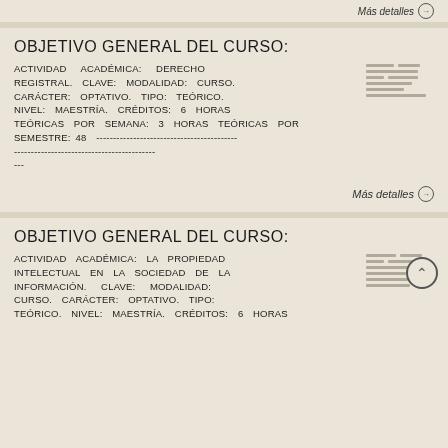Más detalles →
OBJETIVO GENERAL DEL CURSO:
ACTIVIDAD ACADÉMICA: DERECHO REGISTRAL. CLAVE: MODALIDAD: CURSO. CARÁCTER: OPTATIVO. TIPO: TEÓRICO. NIVEL: MAESTRÍA. CRÉDITOS: 6 HORAS TEÓRICAS POR SEMANA: 3 HORAS TEÓRICAS POR SEMESTRE: 48 ---
Más detalles →
OBJETIVO GENERAL DEL CURSO:
ACTIVIDAD ACADÉMICA: LA PROPIEDAD INTELECTUAL EN LA SOCIEDAD DE LA INFORMACIÓN. CLAVE: MODALIDAD: CURSO. CARÁCTER: OPTATIVO. TIPO: TEÓRICO. NIVEL: MAESTRÍA. CRÉDITOS: 6 HORAS